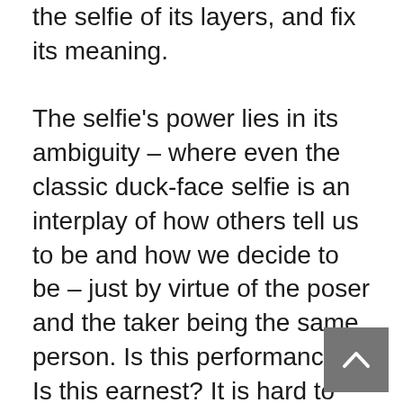the selfie of its layers, and fix its meaning.

The selfie's power lies in its ambiguity – where even the classic duck-face selfie is an interplay of how others tell us to be and how we decide to be – just by virtue of the poser and the taker being the same person. Is this performance? Is this earnest? It is hard to say and pin down. And why, in fact, are we so keen to pin down? Does the pinning